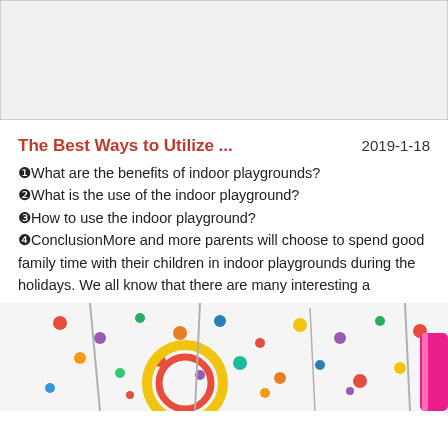[Figure (other): Gray advertisement banner placeholder at the top of the page]
The Best Ways to Utilize ... 2019-1-18
❶What are the benefits of indoor playgrounds?
❷What is the use of the indoor playground?
❸How to use the indoor playground?
❹ConclusionMore and more parents will choose to spend good family time with their children in indoor playgrounds during the holidays. We all know that there are many interesting a
[Figure (photo): Photo of colorful indoor playground equipment including climbing walls with colorful buttons and circular climbing structures in yellow and red]